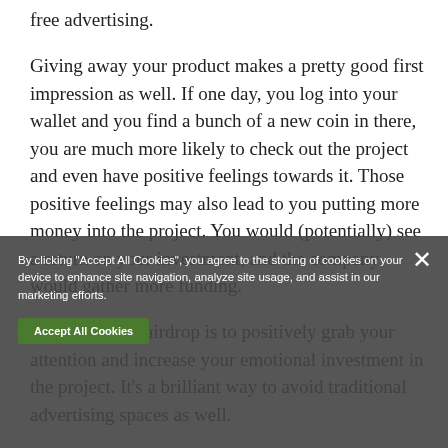free advertising.
Giving away your product makes a pretty good first impression as well. If one day, you log into your wallet and you find a bunch of a new coin in there, you are much more likely to check out the project and even have positive feelings towards it. Those positive feelings may also lead to you putting more money into the project. You would (potentially) see a return on your investment, and the company would gather more funding.
The goal of an airdrop is to positively grab your attention and increase your emotional investment in the project. It’s a brilliant way to avoid traditional advertising spaces as well.
By clicking "Accept All Cookies", you agree to the storing of cookies on your device to enhance site navigation, analyze site usage, and assist in our marketing efforts.